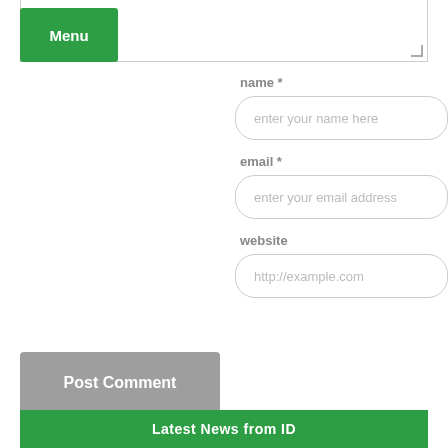[Figure (screenshot): Green Menu button in top left corner over a textarea input field with resize handle]
name *
[Figure (screenshot): Text input field with placeholder 'enter your name here']
email *
[Figure (screenshot): Text input field with placeholder 'enter your email address']
website
[Figure (screenshot): Text input field with placeholder 'http://example.com']
[Figure (screenshot): Gray 'Post Comment' button]
Latest News from ID